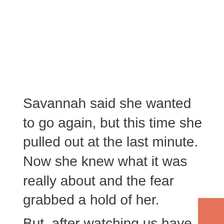Savannah said she wanted to go again, but this time she pulled out at the last minute. Now she knew what it was really about and the fear grabbed a hold of her.
But, after watching us have so much fun for the rest of the afternoon, she decided she could no longer hold back. Up she went again and this time she took off.
She did get off that ride and took the helmet off with a very firm, “No more.” She does love to the story of the Flying Fox now and she always